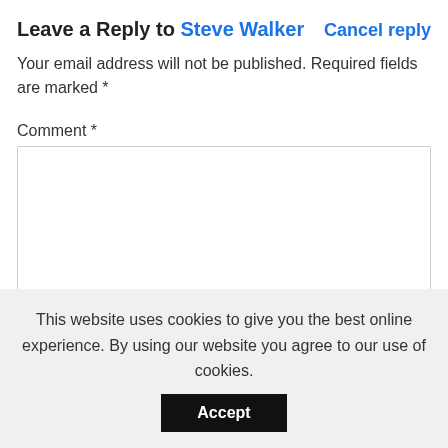Leave a Reply to Steve Walker Cancel reply
Your email address will not be published. Required fields are marked *
Comment *
This website uses cookies to give you the best online experience. By using our website you agree to our use of cookies.